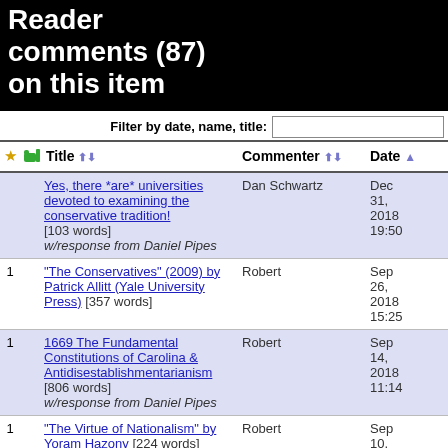Reader comments (87) on this item
Filter by date, name, title:
|  |  | Title | Commenter | Date |
| --- | --- | --- | --- | --- |
|  |  | Yes, there *are* universities devoted to examining the conservative tradition! [103 words] w/response from Daniel Pipes | Dan Schwartz | Dec 31, 2018 19:50 |
| 1 |  | "The Conservatives" (2009) by Patrick Allitt (Yale University Press) [357 words] | Robert | Sep 26, 2018 15:25 |
| 1 |  | 1669 The Fundamental Constitutions of Carolina & Antidisestablishmentarianism [806 words] w/response from Daniel Pipes | Robert | Sep 14, 2018 11:14 |
| 1 |  | "The Virtue of Nationalism" by Yoram Hazony [224 words] | Robert | Sep 10, 2018 11:23 |
| 2 |  | From "The Common Law" by Oliver Wendell Holmes, Jr. (1881) [442 words] | Robert | Sep 4, 2018 13:20 |